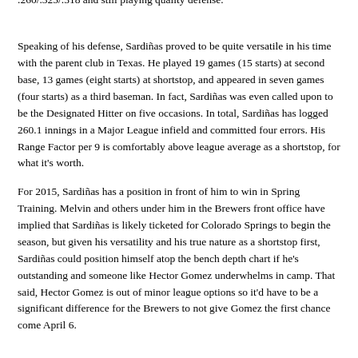.260/.325/.318 and still playing quality defense.
Speaking of his defense, Sardiñas proved to be quite versatile in his time with the parent club in Texas. He played 19 games (15 starts) at second base, 13 games (eight starts) at shortstop, and appeared in seven games (four starts) as a third baseman. In fact, Sardiñas was even called upon to be the Designated Hitter on five occasions. In total, Sardiñas has logged 260.1 innings in a Major League infield and committed four errors. His Range Factor per 9 is comfortably above league average as a shortstop, for what it's worth.
For 2015, Sardiñas has a position in front of him to win in Spring Training. Melvin and others under him in the Brewers front office have implied that Sardiñas is likely ticketed for Colorado Springs to begin the season, but given his versatility and his true nature as a shortstop first, Sardiñas could position himself atop the bench depth chart if he's outstanding and someone like Hector Gomez underwhelms in camp. That said, Hector Gomez is out of minor league options so it'd have to be a significant difference for the Brewers to not give Gomez the first chance come April 6.